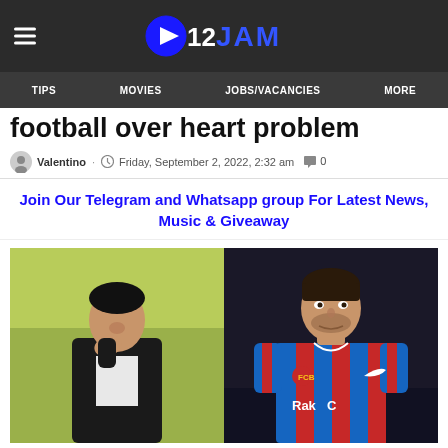O12 JAM
football over heart problem
Valentino · Friday, September 2, 2022, 2:32 am · 0
Join Our Telegram and Whatsapp group For Latest News, Music & Giveaway
[Figure (photo): Two-panel photo: left shows a man in a black suit looking down with hand near face, against a green-yellow background; right shows a footballer in a Barcelona red and blue striped jersey with RakC sponsor text, looking at camera.]